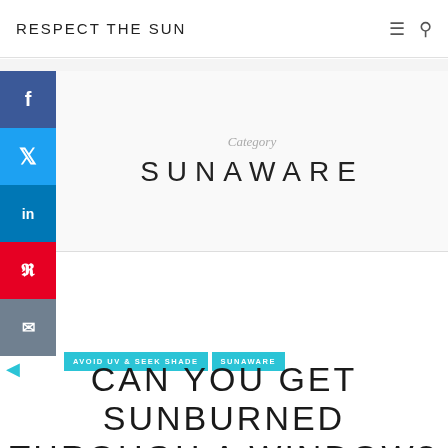RESPECT THE SUN
Category
SUNAWARE
AVOID UV & SEEK SHADE
SUNAWARE
CAN YOU GET SUNBURNED THROUGH A WINDOW?